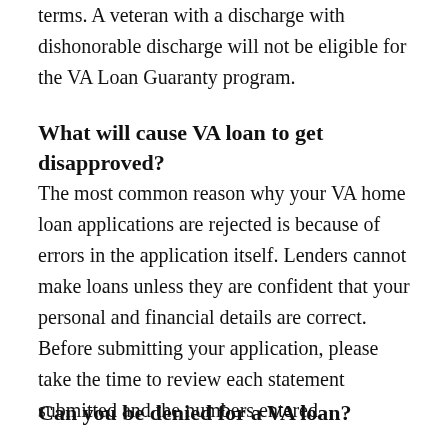terms. A veteran with a discharge with dishonorable discharge will not be eligible for the VA Loan Guaranty program.
What will cause VA loan to get disapproved?
The most common reason why your VA home loan applications are rejected is because of errors in the application itself. Lenders cannot make loans unless they are confident that your personal and financial details are correct. Before submitting your application, please take the time to review each statement submitted and the numbers entered.
Can you be denied for a VA loan?